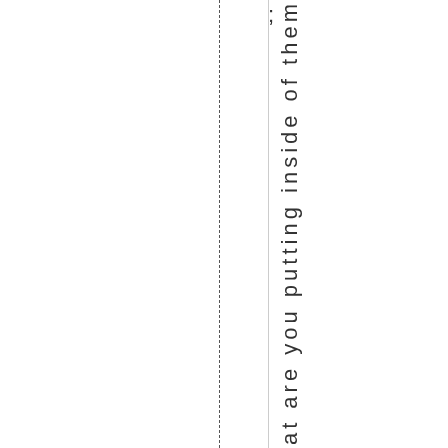; What are you putting inside of them